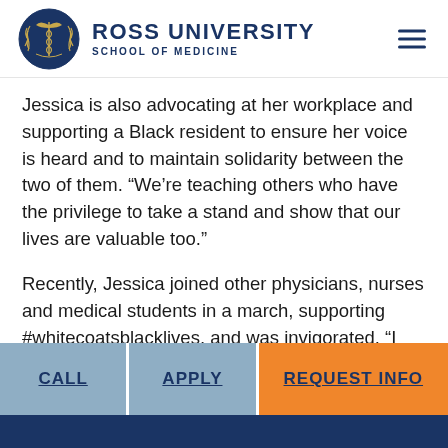[Figure (logo): Ross University School of Medicine logo — navy blue circular emblem with caduceus and laurel wreath, with 'ROSS UNIVERSITY' in large bold navy text and 'SCHOOL OF MEDICINE' below in smaller spaced navy text. Hamburger menu icon top right.]
Jessica is also advocating at her workplace and supporting a Black resident to ensure her voice is heard and to maintain solidarity between the two of them. “We’re teaching others who have the privilege to take a stand and show that our lives are valuable too.”
Recently, Jessica joined other physicians, nurses and medical students in a march, supporting #whitecoatsblacklives, and was invigorated. “I kept asking how we can keep this momentum going. It’s
CALL   APPLY   REQUEST INFO